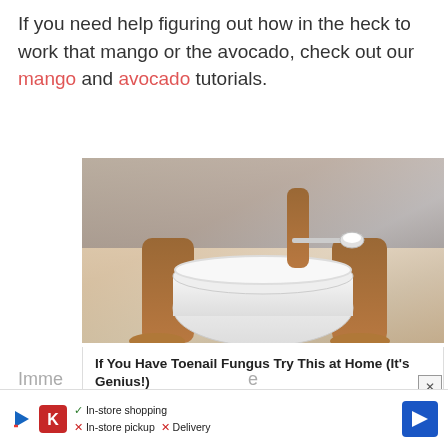If you need help figuring out how in the heck to work that mango or the avocado, check out our mango and avocado tutorials.
[Figure (photo): Advertisement showing a person's feet next to a white bowl with a spoon, promoting a toenail fungus remedy. Title: If You Have Toenail Fungus Try This at Home (It's Genius!). Source: wellnessguide101.com]
Imme... mang...
[Figure (infographic): Bottom banner advertisement showing store shopping options: In-store shopping (checkmark), In-store pickup (X), Delivery (X). Icons include a play button, Kroger K logo, and a blue navigation arrow.]